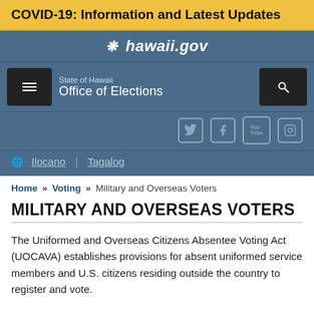COVID-19: Information and Latest Updates
hawaii.gov
State of Hawaii Office of Elections
Ilocano  Tagalog
Home » Voting » Military and Overseas Voters
MILITARY AND OVERSEAS VOTERS
The Uniformed and Overseas Citizens Absentee Voting Act (UOCAVA) establishes provisions for absent uniformed service members and U.S. citizens residing outside the country to register and vote.